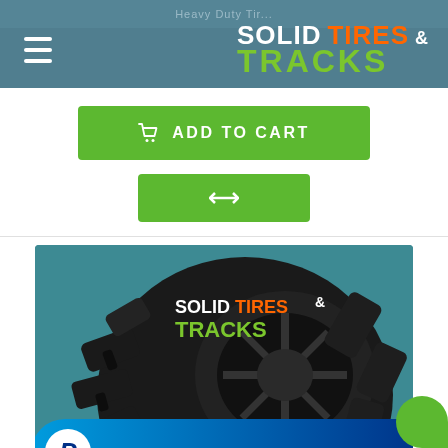Heavy Duty Tires - Solid Tires & Tracks
[Figure (logo): Solid Tires & Tracks logo with hamburger menu in teal header bar]
ADD TO CART
[Figure (screenshot): Compare/exchange icon button (green)]
[Figure (photo): Heavy duty black skid steer tire with aggressive tread pattern on teal background, Solid Tires & Tracks watermark logo overlaid]
[Figure (logo): PayPal payment button bar at bottom of screen]